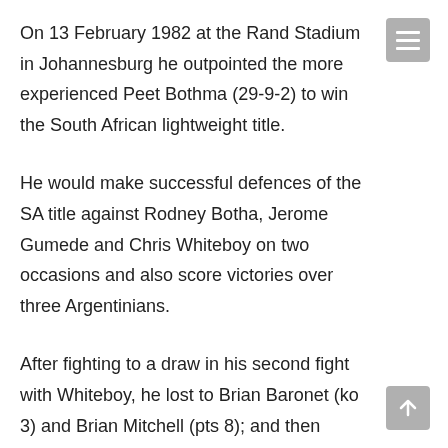On 13 February 1982 at the Rand Stadium in Johannesburg he outpointed the more experienced Peet Bothma (29-9-2) to win the South African lightweight title.
He would make successful defences of the SA title against Rodney Botha, Jerome Gumede and Chris Whiteboy on two occasions and also score victories over three Argentinians.
After fighting to a draw in his second fight with Whiteboy, he lost to Brian Baronet (ko 3) and Brian Mitchell (pts 8); and then made a successful defence of the SA title against Job